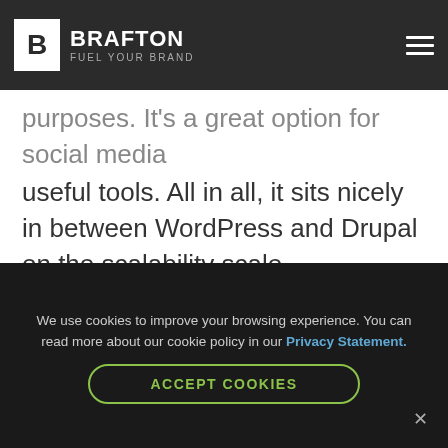BRAFTON | FUEL YOUR BRAND
purposes. Joomla is equipped with a bunch of useful tools. All in all, it sits nicely in between WordPress and Drupal on the scalability scale.
Customization: B
Do you see a trend forming here? It would be a bit unfair to say that Joomla is a “Jack
We use cookies to improve your browsing experience. You can read more about our cookie policy in our Privacy Statement.
ACCEPT COOKIES